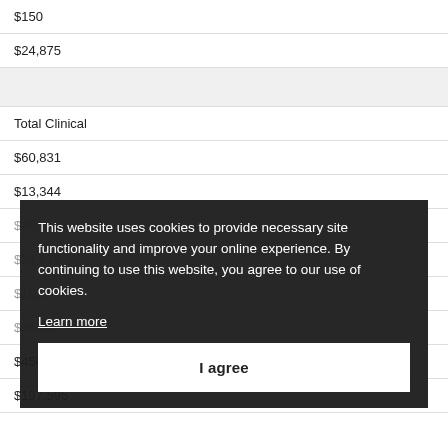| $150 |
| $24,875 |
|  |
| Total Clinical |
| $60,831 |
| $13,344 |
| $450 |
| $24,675 |
| $101,679 |
| $35,466 |
| $450 |
| $197,595 |
This website uses cookies to provide necessary site functionality and improve your online experience. By continuing to use this website, you agree to our use of cookies.
Learn more
I agree